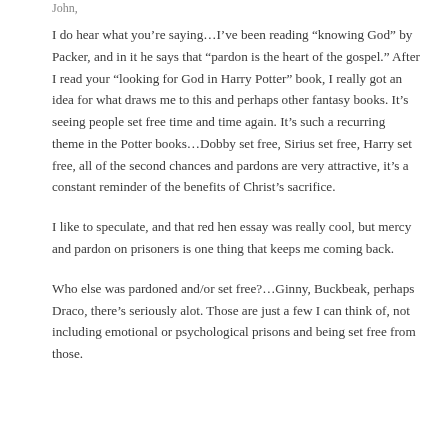John,
I do hear what you’re saying…I’ve been reading “knowing God” by Packer, and in it he says that “pardon is the heart of the gospel.” After I read your “looking for God in Harry Potter” book, I really got an idea for what draws me to this and perhaps other fantasy books. It’s seeing people set free time and time again. It’s such a recurring theme in the Potter books…Dobby set free, Sirius set free, Harry set free, all of the second chances and pardons are very attractive, it’s a constant reminder of the benefits of Christ’s sacrifice.
I like to speculate, and that red hen essay was really cool, but mercy and pardon on prisoners is one thing that keeps me coming back.
Who else was pardoned and/or set free?…Ginny, Buckbeak, perhaps Draco, there’s seriously alot. Those are just a few I can think of, not including emotional or psychological prisons and being set free from those.